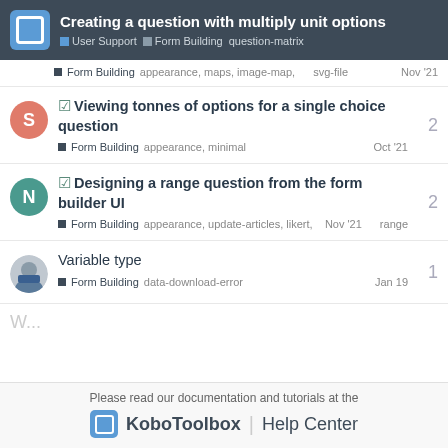Creating a question with multiply unit options — User Support · Form Building · question-matrix
Form Building   appearance, maps, image-map, svg-file   Nov '21
☑ Viewing tonnes of options for a single choice question   Form Building   appearance, minimal   Oct '21   2
☑ Designing a range question from the form builder UI   Form Building   appearance, update-articles, likert, range   Nov '21   2
Variable type   Form Building   data-download-error   Jan 19   1
Please read our documentation and tutorials at the KoboToolbox | Help Center